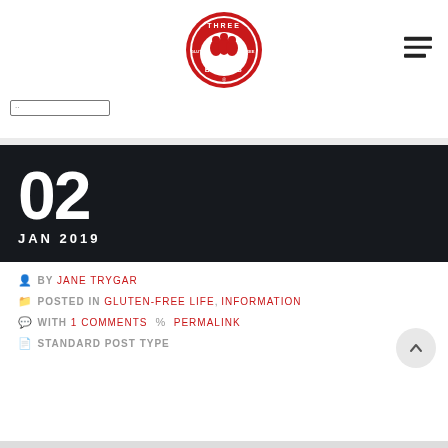[Figure (logo): Three Bakers Gluten Free circular red logo with illustrated baker figures]
[Figure (other): Hamburger menu icon (three horizontal lines)]
[Figure (other): Search input box with cursor]
02
JAN 2019
BY JANE TRYGAR
POSTED IN GLUTEN-FREE LIFE, INFORMATION
WITH 1 COMMENTS  PERMALINK
STANDARD POST TYPE